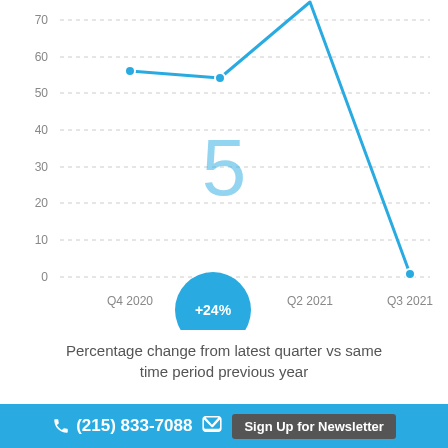[Figure (line-chart): ]
Percentage change from latest quarter vs same time period previous year
(215) 833-7088   Sign Up for Newsletter